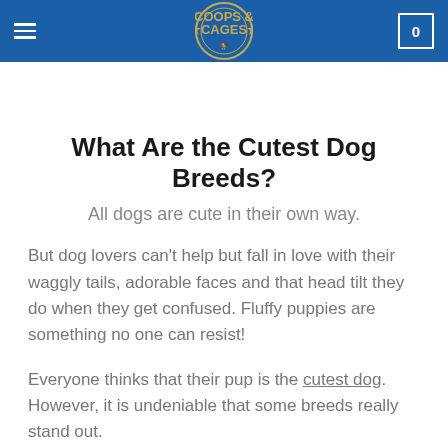COOPS & CAGES
What Are the Cutest Dog Breeds?
All dogs are cute in their own way.
But dog lovers can't help but fall in love with their waggly tails, adorable faces and that head tilt they do when they get confused. Fluffy puppies are something no one can resist!
Everyone thinks that their pup is the cutest dog. However, it is undeniable that some breeds really stand out.